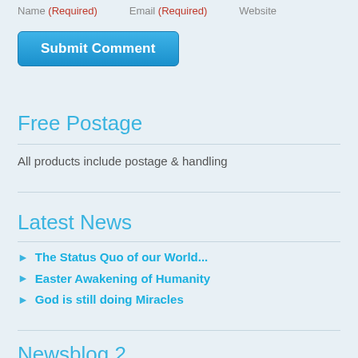Name (Required)   Email (Required)   Website
Submit Comment
Free Postage
All products include postage & handling
Latest News
The Status Quo of our World...
Easter Awakening of Humanity
God is still doing Miracles
Newsblog 2...